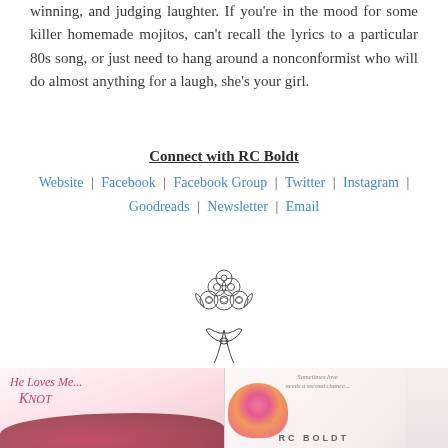winning, and judging laughter. If you're in the mood for some killer homemade mojitos, can't recall the lyrics to a particular 80s song, or just need to hang around a nonconformist who will do almost anything for a laugh, she's your girl.
Connect with RC Boldt
Website | Facebook | Facebook Group | Twitter | Instagram | Goodreads | Newsletter | Email
[Figure (illustration): Line drawing of a bouquet of flowers tied with a ribbon bow]
[Figure (photo): Two book covers side by side. Left: 'He Loves Me... Knot' with roses. Right: RC Boldt book with bride holding flowers and tagline 'Sometimes love needs a second chance...']